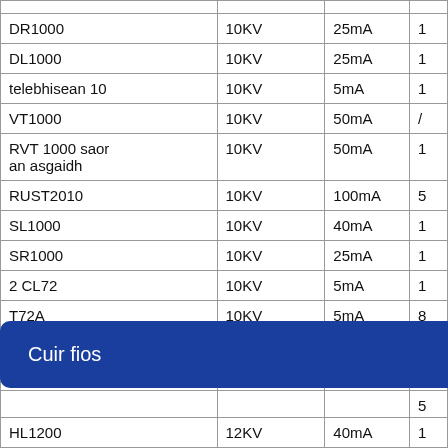| Model | Voltage | Current |  |
| --- | --- | --- | --- |
| DR1000 | 10KV | 25mA | 1 |
| DL1000 | 10KV | 25mA | 1 |
| telebhisean 10 | 10KV | 5mA | 1 |
| VT1000 | 10KV | 50mA | / |
| RVT 1000 saor an asgaidh | 10KV | 50mA | 1 |
| RUST2010 | 10KV | 100mA | 5 |
| SL1000 | 10KV | 40mA | 1 |
| SR1000 | 10KV | 25mA | 1 |
| 2 CL72 | 10KV | 5mA | 1 |
| T72A | 10KV | 5mA | 8 |
| ER1100 | 11KV | 100mA | / |
| RR1100B | 11KV | 80mA | 2 |
|  |  |  | 5 |
| HL1200 | 12KV | 40mA | 1 |
Cuir fios
| HL1200 | 12KV | 40mA | 1 |